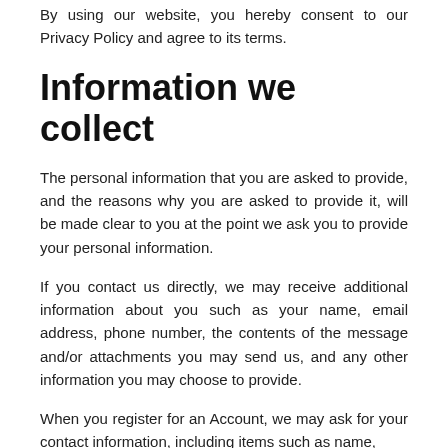By using our website, you hereby consent to our Privacy Policy and agree to its terms.
Information we collect
The personal information that you are asked to provide, and the reasons why you are asked to provide it, will be made clear to you at the point we ask you to provide your personal information.
If you contact us directly, we may receive additional information about you such as your name, email address, phone number, the contents of the message and/or attachments you may send us, and any other information you may choose to provide.
When you register for an Account, we may ask for your contact information, including items such as name,